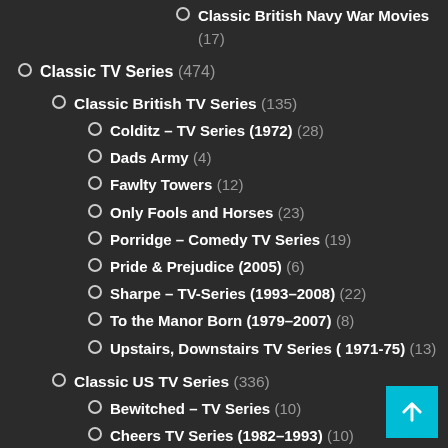Classic British Navy War Movies (17)
Classic TV Series (474)
Classic British TV Series (135)
Colditz – TV Series (1972) (28)
Dads Army (4)
Fawlty Towers (12)
Only Fools and Horses (23)
Porridge – Comedy TV Series (19)
Pride & Prejudice (2005) (6)
Sharpe – TV-Series (1993–2008) (22)
To the Manor Born (1979–2007) (8)
Upstairs, Downstairs TV Series ( 1971-75) (13)
Classic US TV Series (336)
Bewitched – TV Series (10)
Cheers TV Series (1982–1993) (10)
Colditz (2005 TV Series) (2)